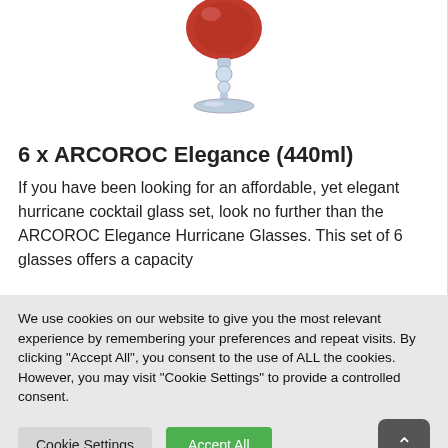[Figure (photo): A red hurricane cocktail glass on a clear stem with a round base, photographed on a white background.]
6 x ARCOROC Elegance (440ml)
If you have been looking for an affordable, yet elegant hurricane cocktail glass set, look no further than the ARCOROC Elegance Hurricane Glasses. This set of 6 glasses offers a capacity
We use cookies on our website to give you the most relevant experience by remembering your preferences and repeat visits. By clicking "Accept All", you consent to the use of ALL the cookies. However, you may visit "Cookie Settings" to provide a controlled consent.
Cookie Settings
Accept All